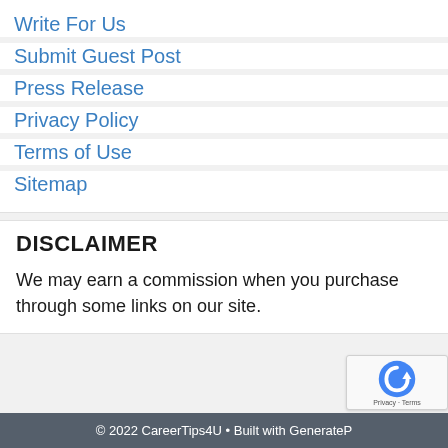Write For Us
Submit Guest Post
Press Release
Privacy Policy
Terms of Use
Sitemap
DISCLAIMER
We may earn a commission when you purchase through some links on our site.
© 2022 CareerTips4U • Built with GenerateP